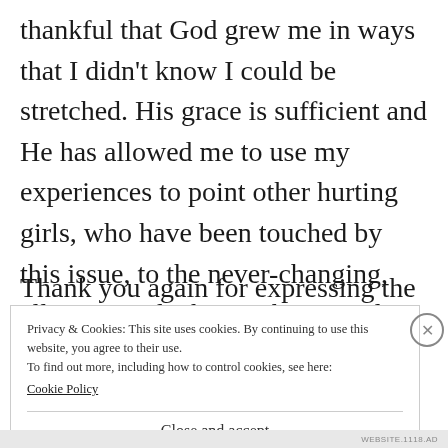thankful that God grew me in ways that I didn't know I could be stretched. His grace is sufficient and He has allowed me to use my experiences to point other hurting girls, who have been touched by this issue, to the never-changing, all-wise God who can be trusted.
Thank you again for expressing the
Privacy & Cookies: This site uses cookies. By continuing to use this website, you agree to their use.
To find out more, including how to control cookies, see here:
Cookie Policy
Close and accept
WEBSITE.1118.AD